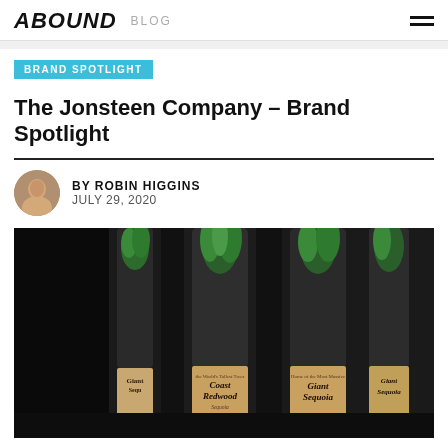ABOUND  BLOG
BRAND SPOTLIGHT
The Jonsteen Company – Brand Spotlight
BY ROBIN HIGGINS
JULY 29, 2020
[Figure (photo): Three glass tube containers with small tree seedlings growing inside, showing labels for Giant Sequoia and Coast Redwood (Sequoia sempervirens) products from The Jonsteen Company, photographed on a dark background.]